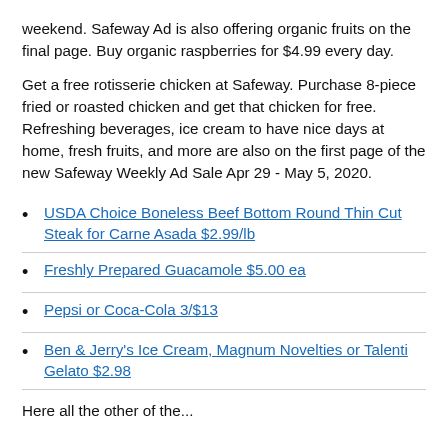weekend. Safeway Ad is also offering organic fruits on the final page. Buy organic raspberries for $4.99 every day.
Get a free rotisserie chicken at Safeway. Purchase 8-piece fried or roasted chicken and get that chicken for free. Refreshing beverages, ice cream to have nice days at home, fresh fruits, and more are also on the first page of the new Safeway Weekly Ad Sale Apr 29 - May 5, 2020.
USDA Choice Boneless Beef Bottom Round Thin Cut Steak for Carne Asada $2.99/lb
Freshly Prepared Guacamole $5.00 ea
Pepsi or Coca-Cola 3/$13
Ben & Jerry's Ice Cream, Magnum Novelties or Talenti Gelato $2.98
Here all the other of the...